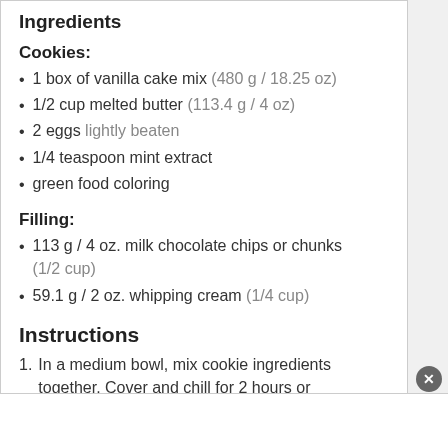Ingredients
Cookies:
1 box of vanilla cake mix (480 g / 18.25 oz)
1/2 cup melted butter (113.4 g / 4 oz)
2 eggs lightly beaten
1/4 teaspoon mint extract
green food coloring
Filling:
113 g / 4 oz. milk chocolate chips or chunks (1/2 cup)
59.1 g / 2 oz. whipping cream (1/4 cup)
Instructions
In a medium bowl, mix cookie ingredients together. Cover and chill for 2 hours or